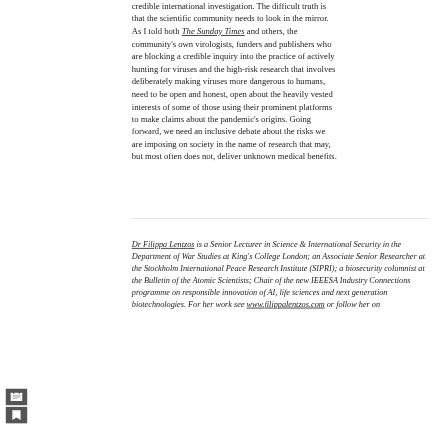credible international investigation. The difficult truth is that the scientific community needs to look in the mirror. As I told both The Sunday Times and others, the community's own virologists, funders and publishers who are blocking a credible inquiry into the practice of actively hunting for viruses and the high-risk research that involves deliberately making viruses more dangerous to humans, need to be open and honest, open about the heavily vested interests of some of those using their prominent platforms to make claims about the pandemic's origins. Going forward, we need an inclusive debate about the risks we are imposing on society in the name of research that may, but most often does not, deliver unknown medical benefits.
Dr Filippa Lentzos is a Senior Lecturer in Science & International Security in the Department of War Studies at King's College London; an Associate Senior Researcher at the Stockholm International Peace Research Institute (SIPRI); a biosecurity columnist at the Bulletin of the Atomic Scientists; Chair of the new IEEESA Industry Connections programme on responsible innovation of AI, life sciences and next generation biotechnologies. For her work see www.filippalentzos.com or follow her on